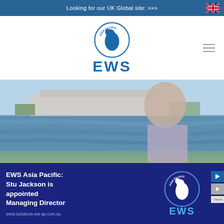Looking for our UK Global site: >>>
[Figure (logo): EWS Asia Pacific logo with bird silhouette and text EWS]
[Figure (photo): Man in checked shirt standing outdoors near a lake with a large building in the background, overlaid with dark blue card showing EWS Asia Pacific branding]
EWS Asia Pacific: Stu Jackson is appointed Managing Director
www.solutions-ew-ap.com.au